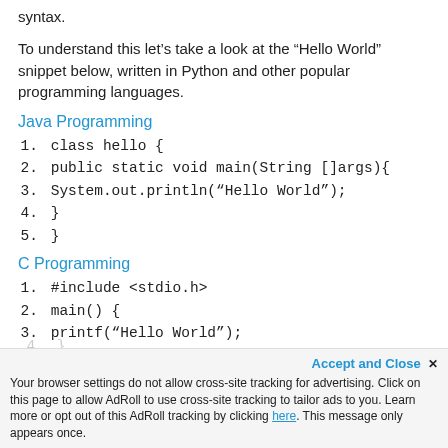syntax.
To understand this let’s take a look at the “Hello World” snippet below, written in Python and other popular programming languages.
Java Programming
1. class hello {
2. public static void main(String []args){
3. System.out.println(“Hello World”);
4. }
5. }
C Programming
1. #include <stdio.h>
2. main() {
3. printf(“Hello World”);
4. }
Your browser settings do not allow cross-site tracking for advertising. Click on this page to allow AdRoll to use cross-site tracking to tailor ads to you. Learn more or opt out of this AdRoll tracking by clicking here. This message only appears once.